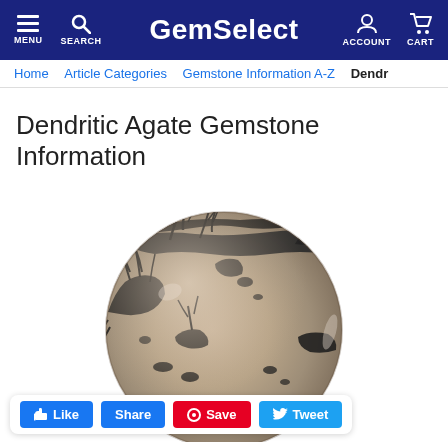GemSelect — MENU SEARCH ACCOUNT CART
Home > Article Categories > Gemstone Information A-Z > Dendr...
Dendritic Agate Gemstone Information
[Figure (photo): A close-up photograph of a polished round dendritic agate cabochon with beige/tan base color and dark black dendritic mineral inclusions creating tree-like patterns across the surface.]
Like  Share  Save  Tweet